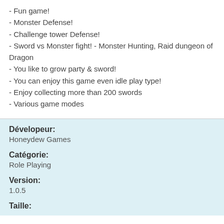- Fun game!
- Monster Defense!
- Challenge tower Defense!
- Sword vs Monster fight! - Monster Hunting, Raid dungeon of Dragon
- You like to grow party & sword!
- You can enjoy this game even idle play type!
- Enjoy collecting more than 200 swords
- Various game modes
Dévelopeur:
Honeydew Games
Catégorie:
Role Playing
Version:
1.0.5
Taille: